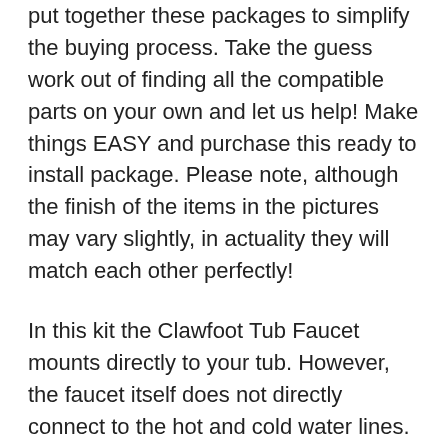put together these packages to simplify the buying process. Take the guess work out of finding all the compatible parts on your own and let us help! Make things EASY and purchase this ready to install package. Please note, although the finish of the items in the pictures may vary slightly, in actuality they will match each other perfectly!
In this kit the Clawfoot Tub Faucet mounts directly to your tub. However, the faucet itself does not directly connect to the hot and cold water lines. The water lines come up out of your floor and connect to the included Satin Nickel finish supply lines. The supply lines feed hot and cold water into the faucet which mixes the water to your preferred temperature. This warm water then comes out the spout and fills the tub. The supply stops at the bottom are emergency shut-off valves which all faucets require. The